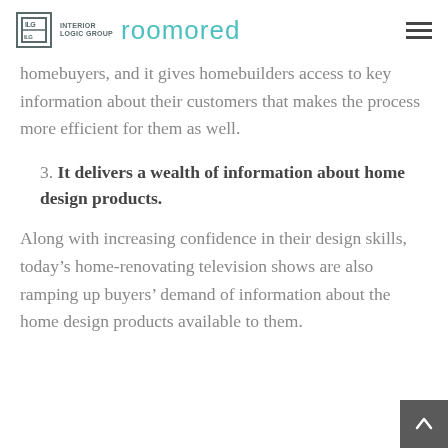Interior Logic Group roomored
homebuyers, and it gives homebuilders access to key information about their customers that makes the process more efficient for them as well.
3. It delivers a wealth of information about home design products.
Along with increasing confidence in their design skills, today's home-renovating television shows are also ramping up buyers' demand of information about the home design products available to them.